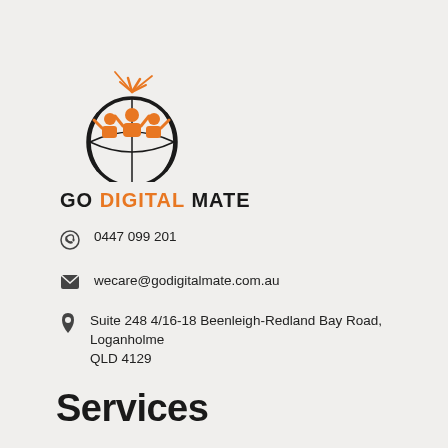[Figure (logo): Go Digital Mate logo: orange figures on a globe with swoosh, and company name 'GO DIGITAL MATE' in bold below]
0447 099 201
wecare@godigitalmate.com.au
Suite 248 4/16-18 Beenleigh-Redland Bay Road, Loganholme QLD 4129
Services